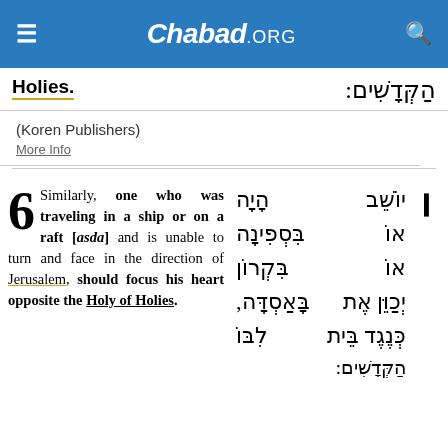Chabad.ORG
Holies: הַקְּדָשִׁים:
(Koren Publishers)
More Info
6 Similarly, one who was traveling in a ship or on a raft [asda] and is unable to turn and face in the direction of Jerusalem, should focus his heart opposite the Holy of Holies.